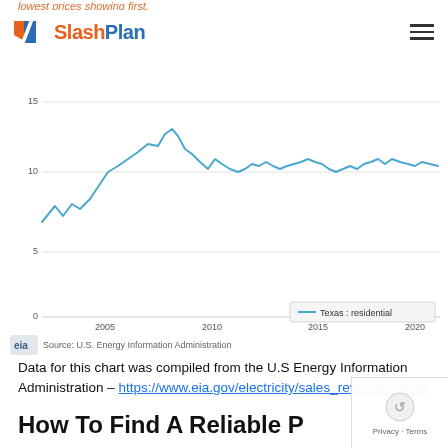lowest prices showing first.
SlashPlan
Average retail price of electricity, monthly
cents per kilowatthour
[Figure (continuous-plot): Line chart showing average retail price of electricity in Texas (residential) from approximately 2002 to 2022. The price starts around 9-10 cents/kWh, rises to a peak near 14-15 cents around 2008, drops and fluctuates around 11-12 cents through 2020, then rises again to about 12-13 cents by 2022.]
Source: U.S. Energy Information Administration
Data for this chart was compiled from the U.S Energy Information Administration – https://www.eia.gov/electricity/sales_revenue_price/
How To Find A Reliable P...